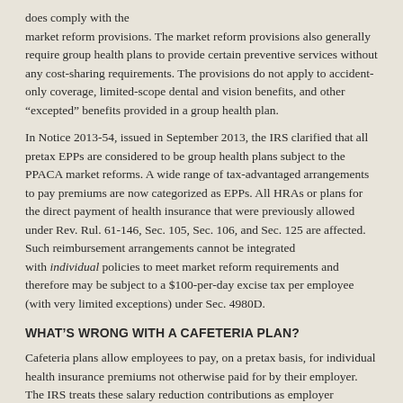does comply with the market reform provisions. The market reform provisions also generally require group health plans to provide certain preventive services without any cost-sharing requirements. The provisions do not apply to accident-only coverage, limited-scope dental and vision benefits, and other “excepted” benefits provided in a group health plan.
In Notice 2013-54, issued in September 2013, the IRS clarified that all pretax EPPs are considered to be group health plans subject to the PPACA market reforms. A wide range of tax-advantaged arrangements to pay premiums are now categorized as EPPs. All HRAs or plans for the direct payment of health insurance that were previously allowed under Rev. Rul. 61-146, Sec. 105, Sec. 106, and Sec. 125 are affected. Such reimbursement arrangements cannot be integrated with individual policies to meet market reform requirements and therefore may be subject to a $100-per-day excise tax per employee (with very limited exceptions) under Sec. 4980D.
WHAT’S WRONG WITH A CAFETERIA PLAN?
Cafeteria plans allow employees to pay, on a pretax basis, for individual health insurance premiums not otherwise paid for by their employer. The IRS treats these salary reduction contributions as employer contributions